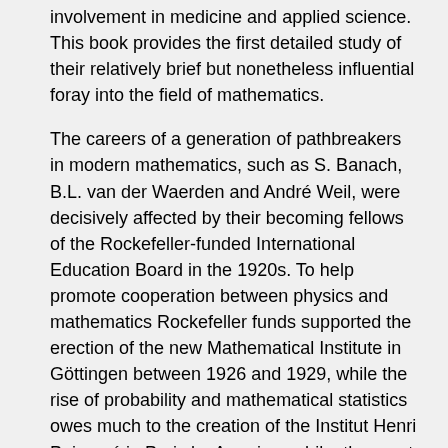involvement in medicine and applied science. This book provides the first detailed study of their relatively brief but nonetheless influential foray into the field of mathematics.
The careers of a generation of pathbreakers in modern mathematics, such as S. Banach, B.L. van der Waerden and André Weil, were decisively affected by their becoming fellows of the Rockefeller-funded International Education Board in the 1920s. To help promote cooperation between physics and mathematics Rockefeller funds supported the erection of the new Mathematical Institute in Göttingen between 1926 and 1929, while the rise of probability and mathematical statistics owes much to the creation of the Institut Henri Poincaré in Paris by American philanthropy at about the same time.
This account draws upon the documented evaluation processes behind these personal and institutional involvements of philanthropies. It not only sheds light on important events in the history of mathematics and physics of the 20th century but also analyzes the comparative developments of mathematics in Europe and the United States. Several of the documents are given in their entirety as significant witnesses to the gradual shift of the center of world mathematics to the USA. This shift...